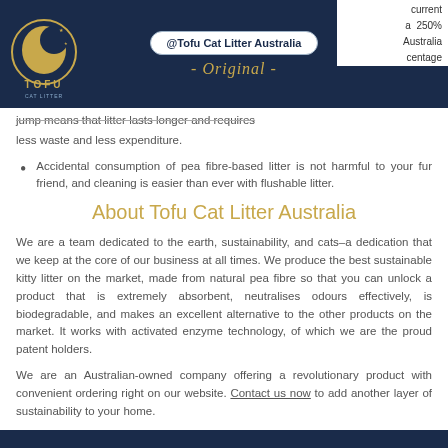@Tofu Cat Litter Australia - Original -
jump means that litter lasts longer and requires less waste and less expenditure.
Accidental consumption of pea fibre-based litter is not harmful to your fur friend, and cleaning is easier than ever with flushable litter.
About Tofu Cat Litter Australia
We are a team dedicated to the earth, sustainability, and cats–a dedication that we keep at the core of our business at all times. We produce the best sustainable kitty litter on the market, made from natural pea fibre so that you can unlock a product that is extremely absorbent, neutralises odours effectively, is biodegradable, and makes an excellent alternative to the other products on the market. It works with activated enzyme technology, of which we are the proud patent holders.
We are an Australian-owned company offering a revolutionary product with convenient ordering right on our website. Contact us now to add another layer of sustainability to your home.